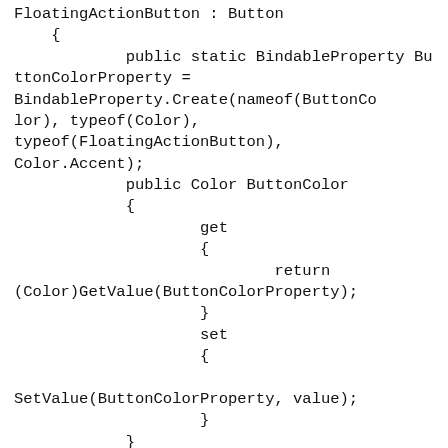FloatingActionButton : Button
    {
            public static BindableProperty ButtonColorProperty =
BindableProperty.Create(nameof(ButtonColor), typeof(Color),
typeof(FloatingActionButton),
Color.Accent);
            public Color ButtonColor
            {
                    get
                    {
                            return
(Color)GetValue(ButtonColorProperty);
                    }
                    set
                    {

SetValue(ButtonColorProperty, value);
                    }
            }
            public FloatingActionButton()
            {
                    InitializeComponent();
            }